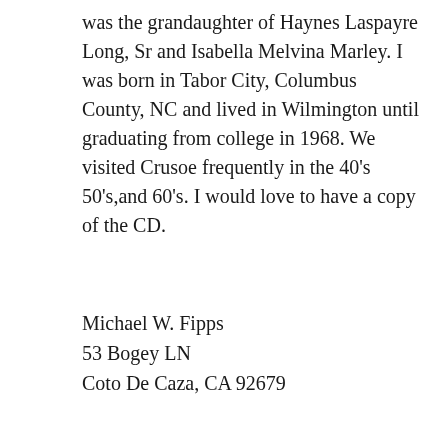was the grandaughter of Haynes Laspayre Long, Sr and Isabella Melvina Marley. I was born in Tabor City, Columbus County, NC and lived in Wilmington until graduating from college in 1968. We visited Crusoe frequently in the 40's 50's,and 60's. I would love to have a copy of the CD.
Michael W. Fipps
53 Bogey LN
Coto De Caza, CA 92679
Reply
Renae Goodson